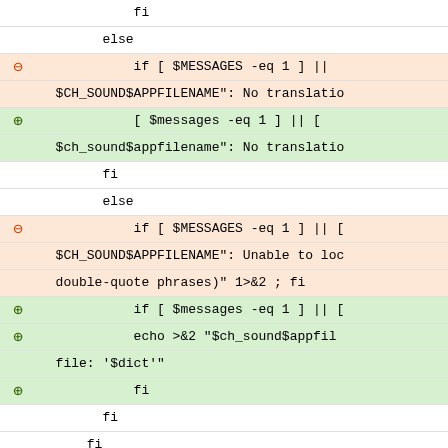[Figure (screenshot): A diff view showing shell script code changes. Lines with red minus circles indicate removed lines (highlighted in light orange/red), lines with green plus circles indicate added lines (highlighted in light green). Neutral lines have white background. A context bar shows '643,11 →'. The code shows shell script conditionals with variables like $MESSAGES, $VERBOSE, $TRANSLATE_DIR and commands like echo, exit, fi, else.]